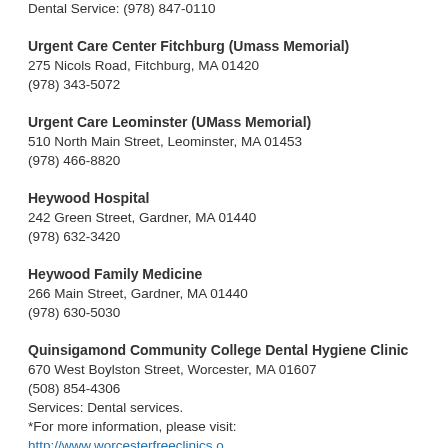Dental Service: (978) 847-0110
Urgent Care Center Fitchburg (Umass Memorial)
275 Nicols Road, Fitchburg, MA 01420
(978) 343-5072
Urgent Care Leominster (UMass Memorial)
510 North Main Street, Leominster, MA 01453
(978) 466-8820
Heywood Hospital
242 Green Street, Gardner, MA 01440
(978) 632-3420
Heywood Family Medicine
266 Main Street, Gardner, MA 01440
(978) 630-5030
Quinsigamond Community College Dental Hygiene Clinic
670 West Boylston Street, Worcester, MA 01607
(508) 854-4306
Services: Dental services.
*For more information, please visit: http://www.worcesterfreeclinics.org
http://www.worcesterresources.org